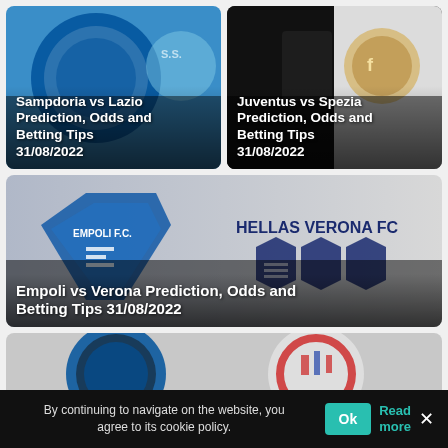[Figure (illustration): Card showing Sampdoria vs Lazio football club logos with text overlay]
Sampdoria vs Lazio Prediction, Odds and Betting Tips 31/08/2022
[Figure (illustration): Card showing Juventus vs Spezia football club logos with text overlay]
Juventus vs Spezia Prediction, Odds and Betting Tips 31/08/2022
[Figure (illustration): Card showing Empoli FC vs Hellas Verona FC football club logos with text overlay]
Empoli vs Verona Prediction, Odds and Betting Tips 31/08/2022
[Figure (illustration): Card showing Inter Milan vs Cremonese football club logos, partially visible]
By continuing to navigate on the website, you agree to its cookie policy.
Ok
Read more